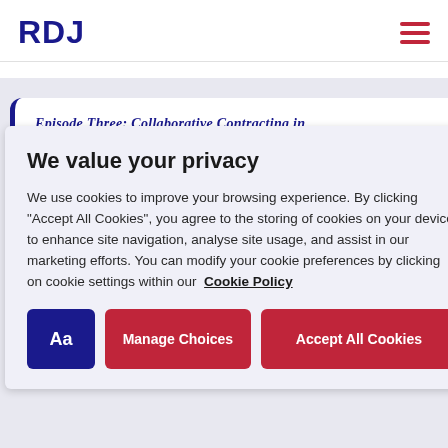RDJ
Episode Three: Collaborative Contracting in
We value your privacy
We use cookies to improve your browsing experience. By clicking “Accept All Cookies”, you agree to the storing of cookies on your device to enhance site navigation, analyse site usage, and assist in our marketing efforts. You can modify your cookie preferences by clicking on cookie settings within our Cookie Policy
Aa
Manage Choices
Accept All Cookies